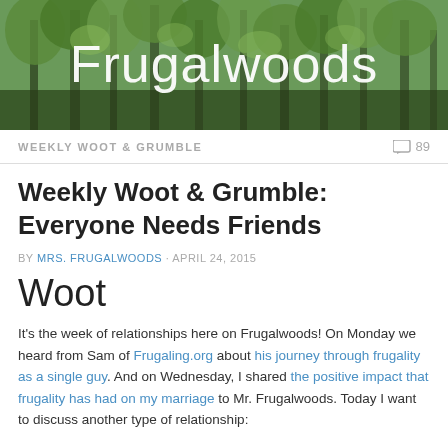[Figure (photo): Forest/woodland header banner with green tree canopy, overlaid with the site title 'Frugalwoods' in large white text]
WEEKLY WOOT & GRUMBLE   89
Weekly Woot & Grumble: Everyone Needs Friends
BY MRS. FRUGALWOODS · APRIL 24, 2015
Woot
It's the week of relationships here on Frugalwoods! On Monday we heard from Sam of Frugaling.org about his journey through frugality as a single guy. And on Wednesday, I shared the positive impact that frugality has had on my marriage to Mr. Frugalwoods. Today I want to discuss another type of relationship: